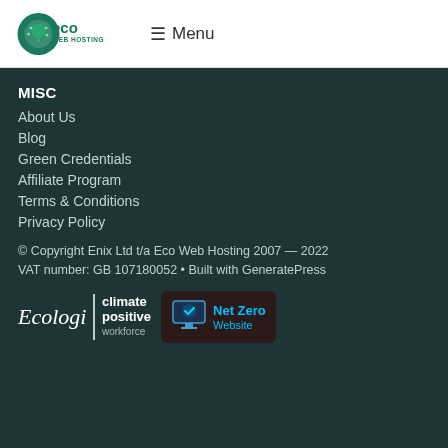[Figure (logo): Eco Web Hosting logo: green circular icon with tree/wifi symbol, with 'eco WEB HOSTING' text in green]
≡ Menu
MISC
About Us
Blog
Green Credentials
Affiliate Program
Terms & Conditions
Privacy Policy
© Copyright Enix Ltd t/a Eco Web Hosting 2007 — 2022
VAT number: GB 107180052 • Built with GeneratePress
[Figure (logo): Ecologi climate positive workforce badge alongside Net Zero Website badge with monitor icon]